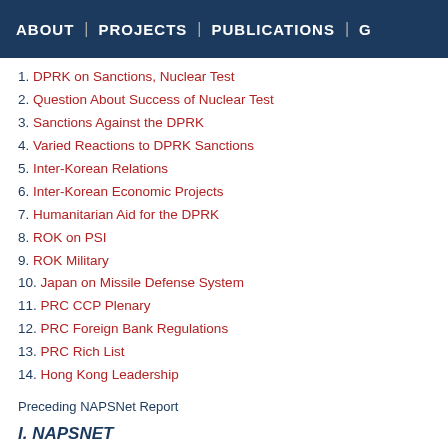ABOUT | PROJECTS | PUBLICATIONS | G
1. DPRK on Sanctions, Nuclear Test
2. Question About Success of Nuclear Test
3. Sanctions Against the DPRK
4. Varied Reactions to DPRK Sanctions
5. Inter-Korean Relations
6. Inter-Korean Economic Projects
7. Humanitarian Aid for the DPRK
8. ROK on PSI
9. ROK Military
10. Japan on Missile Defense System
11. PRC CCP Plenary
12. PRC Foreign Bank Regulations
13. PRC Rich List
14. Hong Kong Leadership
Preceding NAPSNet Report
I. NAPSNET
1. DPRK ON SANCTIONS, NUCLEAR TEST